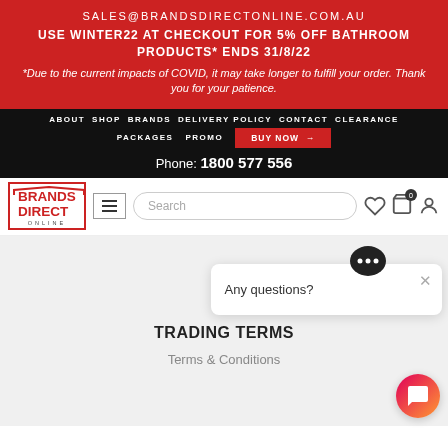SALES@BRANDSDIRECTONLINE.COM.AU
USE WINTER22 AT CHECKOUT FOR 5% OFF BATHROOM PRODUCTS* ENDS 31/8/22
*Due to the current impacts of COVID, it may take longer to fulfill your order. Thank you for your patience.
ABOUT  SHOP  BRANDS  DELIVERY POLICY  CONTACT  CLEARANCE  PACKAGES  PROMO  BUY NOW →
Phone: 1800 577 556
[Figure (logo): Brands Direct Online logo with red house outline border]
Search
Any questions?
TRADING TERMS
Terms & Conditions